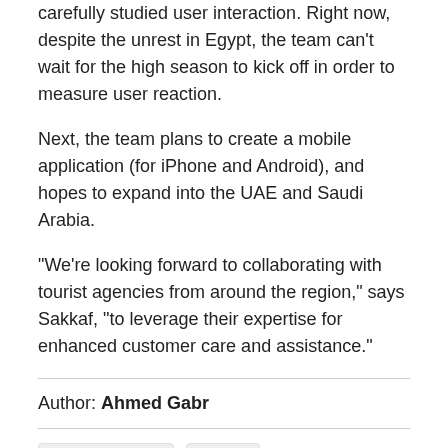carefully studied user interaction. Right now, despite the unrest in Egypt, the team can't wait for the high season to kick off in order to measure user reaction.
Next, the team plans to create a mobile application (for iPhone and Android), and hopes to expand into the UAE and Saudi Arabia.
“We’re looking forward to collaborating with tourist agencies from around the region,” says Sakkaf, "to leverage their expertise for enhanced customer care and assistance."
Author: Ahmed Gabr
Arabic Content   Travel
Share